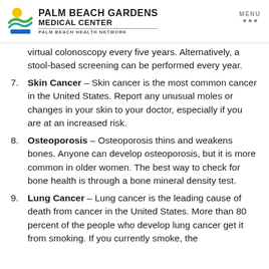Palm Beach Gardens Medical Center — Palm Beach Health Network
virtual colonoscopy every five years. Alternatively, a stool-based screening can be performed every year.
7. Skin Cancer – Skin cancer is the most common cancer in the United States. Report any unusual moles or changes in your skin to your doctor, especially if you are at an increased risk.
8. Osteoporosis – Osteoporosis thins and weakens bones. Anyone can develop osteoporosis, but it is more common in older women. The best way to check for bone health is through a bone mineral density test.
9. Lung Cancer – Lung cancer is the leading cause of death from cancer in the United States. More than 80 percent of the people who develop lung cancer get it from smoking. If you currently smoke, the